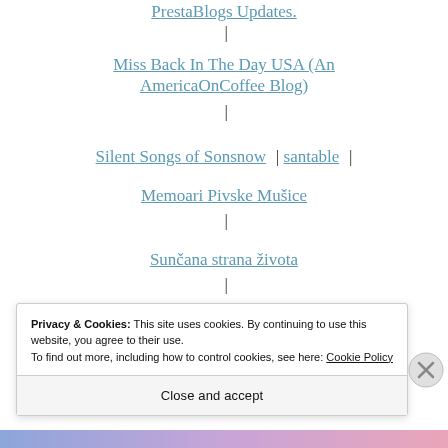PrestaBlogs Updates.  |
Miss Back In The Day USA (An AmericaOnCoffee Blog)  |
Silent Songs of Sonsnow  |  santable  |
Memoari Pivske Mušice  |
Sunčana strana života  |
My rebellious world  |
Privacy & Cookies: This site uses cookies. By continuing to use this website, you agree to their use.
To find out more, including how to control cookies, see here: Cookie Policy
Close and accept